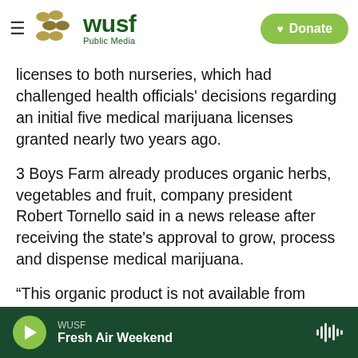WUSF Public Media
licenses to both nurseries, which had challenged health officials' decisions regarding an initial five medical marijuana licenses granted nearly two years ago.
3 Boys Farm already produces organic herbs, vegetables and fruit, company president Robert Tornello said in a news release after receiving the state's approval to grow, process and dispense medical marijuana.
“This organic product is not available from other producers,” Tornello said. “Our team members’
WUSF Fresh Air Weekend